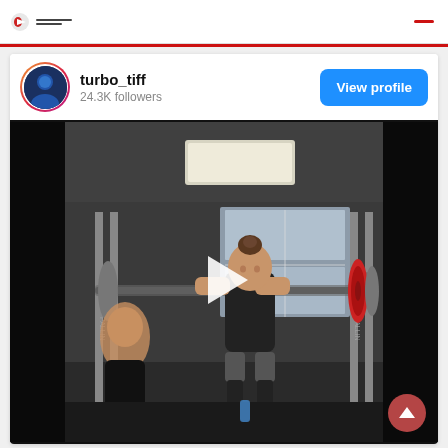turbo_tiff 24.3K followers — View profile
[Figure (screenshot): Instagram profile card for turbo_tiff with 24.3K followers and a View Profile button, with a video thumbnail of a woman doing a barbell lift in a gym, overlaid with a white play button triangle]
turbo_tiff
24.3K followers